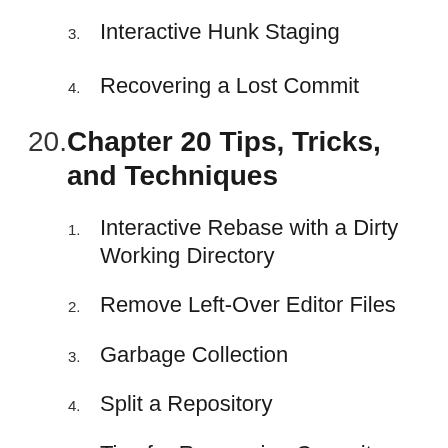3. Interactive Hunk Staging
4. Recovering a Lost Commit
20. Chapter 20 Tips, Tricks, and Techniques
1. Interactive Rebase with a Dirty Working Directory
2. Remove Left-Over Editor Files
3. Garbage Collection
4. Split a Repository
5. Tips for Recovering Commits